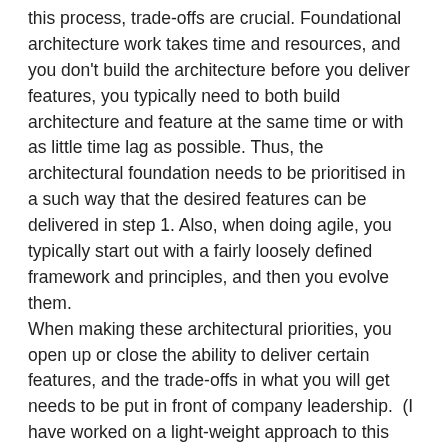this process, trade-offs are crucial. Foundational architecture work takes time and resources, and you don't build the architecture before you deliver features, you typically need to both build architecture and feature at the same time or with as little time lag as possible. Thus, the architectural foundation needs to be prioritised in a such way that the desired features can be delivered in step 1. Also, when doing agile, you typically start out with a fairly loosely defined framework and principles, and then you evolve them.
When making these architectural priorities, you open up or close the ability to deliver certain features, and the trade-offs in what you will get needs to be put in front of company leadership.  (I have worked on a light-weight approach to this that I have called "rapid priority evaluation". I might blog about that in another post.)
I have found that in a large organisation, a typical hindrance to architectural frameworks and principles is